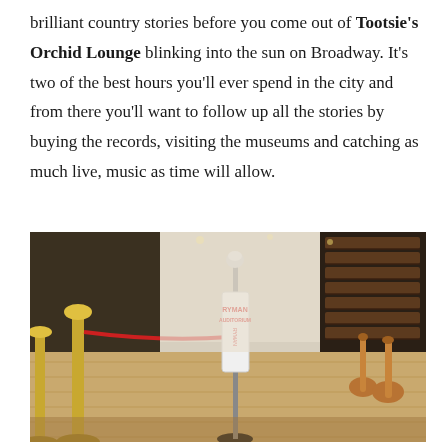brilliant country stories before you come out of Tootsie's Orchid Lounge blinking into the sun on Broadway. It's two of the best hours you'll ever spend in the city and from there you'll want to follow up all the stories by buying the records, visiting the museums and catching as much live, music as time will allow.
[Figure (photo): Interior of the Ryman Auditorium showing wooden pew seating rows, a stage area with a microphone stand bearing a 'Ryman Auditorium' sign, acoustic guitars leaning against pews, a gold stanchion with red rope in the foreground, and wooden flooring.]